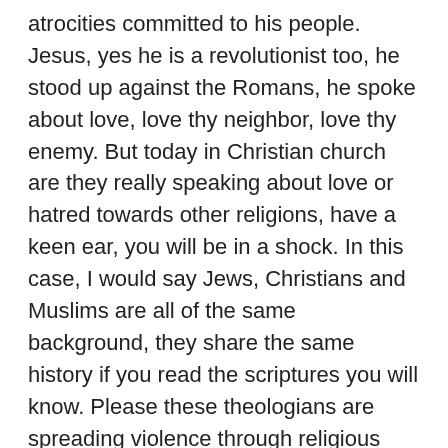atrocities committed to his people. Jesus, yes he is a revolutionist too, he stood up against the Romans, he spoke about love, love thy neighbor, love thy enemy. But today in Christian church are they really speaking about love or hatred towards other religions, have a keen ear, you will be in a shock. In this case, I would say Jews, Christians and Muslims are all of the same background, they share the same history if you read the scriptures you will know. Please these theologians are spreading violence through religious centers in all the above major three religions. It breaks the essence of the religion. I feel pity for all of you guys that you fall pray for the ego for the priests. They don't encourage us to cross-study, please think guys, come on. God sees individuals' hearts, he doesn't cast you into hell due to you are muslim or christian or Jew. If you guys are still going to argue like this. I can't help it, I feel like I'm surrounded by a bunch of medieval brutes. Have some sense. Love, talk love. In no religion the God has appeared and said that this is true path, why? think